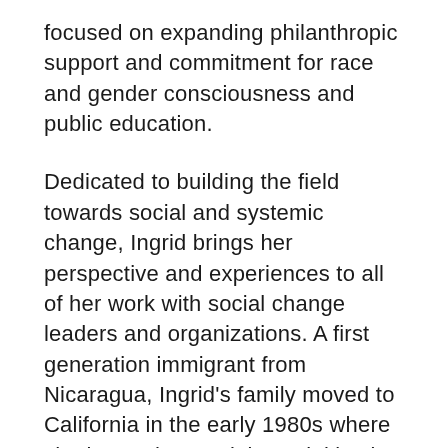focused on expanding philanthropic support and commitment for race and gender consciousness and public education.
Dedicated to building the field towards social and systemic change, Ingrid brings her perspective and experiences to all of her work with social change leaders and organizations. A first generation immigrant from Nicaragua, Ingrid's family moved to California in the early 1980s where she began her work in social justice as a regional organizer against an anti-affirmative action ballot initiative –